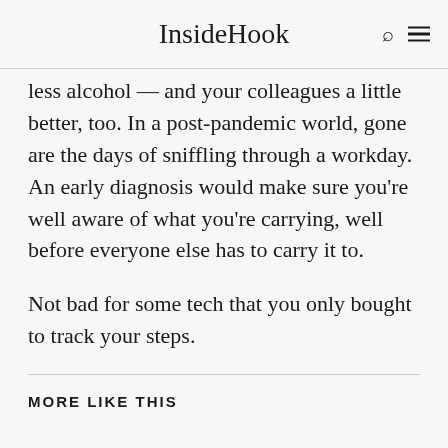InsideHook
less alcohol — and your colleagues a little better, too. In a post-pandemic world, gone are the days of sniffling through a workday. An early diagnosis would make sure you're well aware of what you're carrying, well before everyone else has to carry it to.
Not bad for some tech that you only bought to track your steps.
MORE LIKE THIS